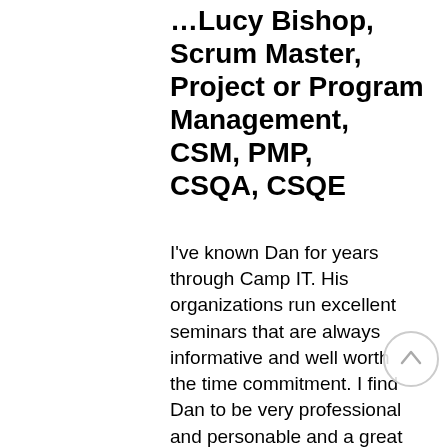…Lucy Bishop, Scrum Master, Project or Program Management, CSM, PMP, CSQA, CSQE
I've known Dan for years through Camp IT. His organizations run excellent seminars that are always informative and well worth the time commitment. I find Dan to be very professional and personable and a great person to know.
Stephen Bauer, Senior Director of IT, Bible League International